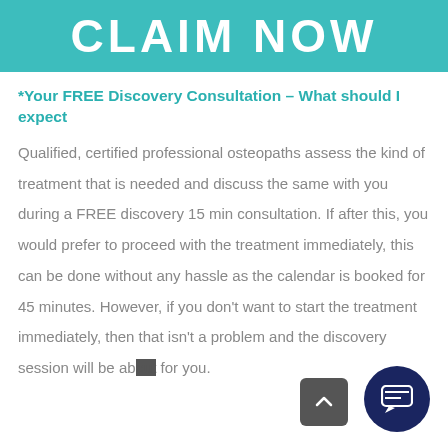[Figure (illustration): Teal/turquoise banner with large bold white text reading 'CLAIM NOW']
*Your FREE Discovery Consultation – What should I expect
Qualified, certified professional osteopaths assess the kind of treatment that is needed and discuss the same with you during a FREE discovery 15 min consultation. If after this, you would prefer to proceed with the treatment immediately, this can be done without any hassle as the calendar is booked for 45 minutes. However, if you don't want to start the treatment immediately, then that isn't a problem and the discovery session will be ab[out] for you.